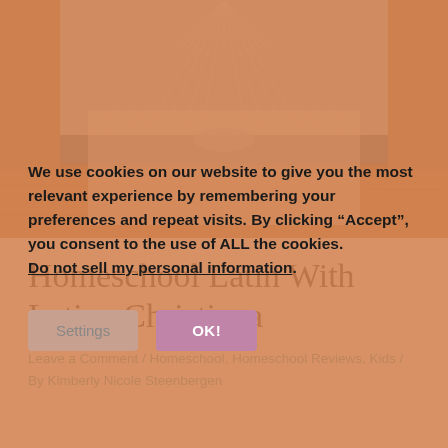[Figure (photo): Open book with white pages fanned out, photographed from above on a wooden surface, with a pale translucent white rectangle overlay in the center.]
Homeschool Latin With Latina Christiana
Leave a Comment / Homeschool, Homeschool Reviews, Kids / By Kimberly Nicole Steenbergen
We use cookies on our website to give you the most relevant experience by remembering your preferences and repeat visits. By clicking “Accept”, you consent to the use of ALL the cookies. Do not sell my personal information.